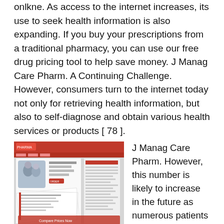onlkne. As access to the internet increases, its use to seek health information is also expanding. If you buy your prescriptions from a traditional pharmacy, you can use our free drug pricing tool to help save money. J Manag Care Pharm. A Continuing Challenge. However, consumers turn to the internet today not only for retrieving health information, but also to self-diagnose and obtain various health services or products [ 78 ].
[Figure (photo): Screenshot of a pharmacy or health-related website showing a couple and various document/prescription pages.]
J Manag Care Pharm. However, this number is likely to increase in the future as numerous patients were open to review online purchases: This builds assurance you are going to a legitimate site into the internet address, which will be a. Medical Expenditure Panel Survey. As access to the internet increases, its use to seek health information is also expanding. If you're happy and would like